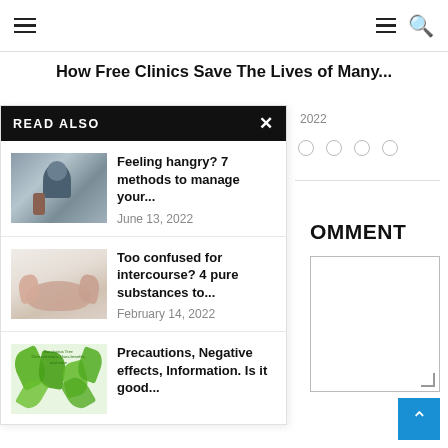≡  ≡ 🔍
How Free Clinics Save The Lives of Many...
2022
READ ALSO
[Figure (photo): Woman looking at phone, article thumbnail for hangry article]
Feeling hangry? 7 methods to manage your...
June 13, 2022
[Figure (photo): Baby feet or person sleeping, article thumbnail for intercourse article]
Too confused for intercourse? 4 pure substances to...
February 14, 2022
[Figure (photo): Green leaves eucalyptus, article thumbnail for precautions article]
Precautions, Negative effects, Information. Is it good...
OMMENT